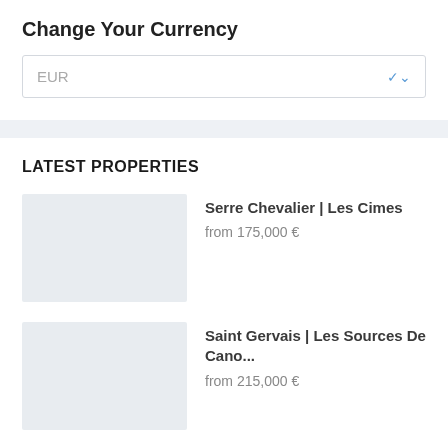Change Your Currency
EUR
LATEST PROPERTIES
Serre Chevalier | Les Cimes
from 175,000 €
Saint Gervais | Les Sources De Cano...
from 215,000 €
Saint-Gervais-Les-Bains |